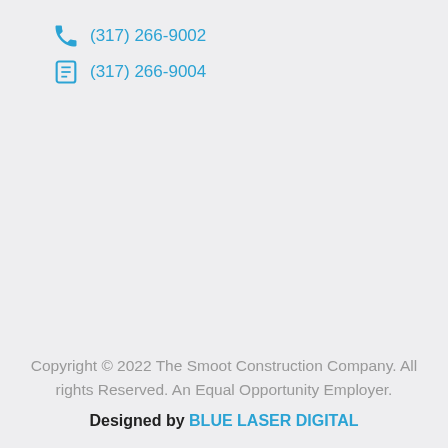(317) 266-9002
(317) 266-9004
Copyright © 2022 The Smoot Construction Company. All rights Reserved. An Equal Opportunity Employer.
Designed by BLUE LASER DIGITAL